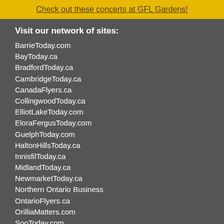Check out these concerts at GFL Gardens!
Visit our network of sites:
BarrieToday.com
BayToday.ca
BradfordToday.ca
CambridgeToday.ca
CanadaFlyers.ca
CollingwoodToday.ca
ElliotLakeToday.com
EloraFergusToday.com
GuelphToday.com
HaltonHillsToday.ca
InnisfilToday.ca
MidlandToday.ca
NewmarketToday.ca
Northern Ontario Business
OntarioFlyers.ca
OrilliaMatters.com
SooToday.com
StratfordToday.ca
Sudbury.com
ThoroldToday.ca
TimminsToday.com